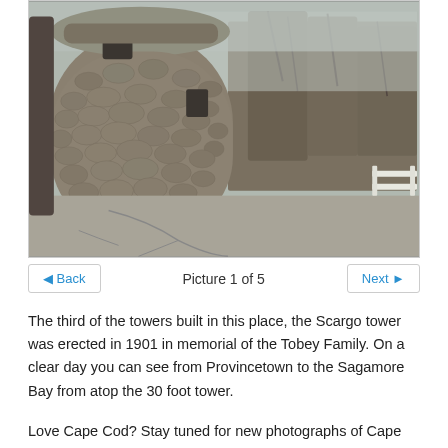[Figure (photo): Photograph of the Scargo Tower, a round stone tower built from fieldstone/cobblestone, surrounded by bare trees on a grey day. A cracked asphalt parking area is in the foreground, and a white fence is visible in the background right.]
Picture 1 of 5
The third of the towers built in this place, the Scargo tower was erected in 1901 in memorial of the Tobey Family. On a clear day you can see from Provincetown to the Sagamore Bay from atop the 30 foot tower.
Love Cape Cod? Stay tuned for new photographs of Cape Cod taken